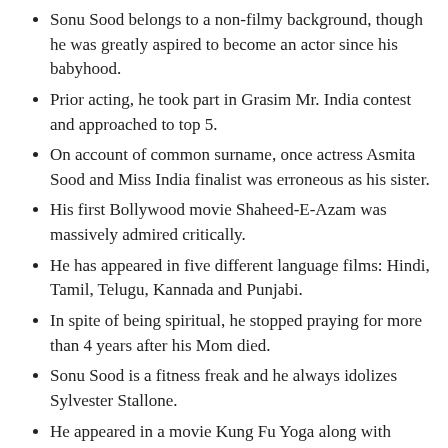Sonu Sood belongs to a non-filmy background, though he was greatly aspired to become an actor since his babyhood.
Prior acting, he took part in Grasim Mr. India contest and approached to top 5.
On account of common surname, once actress Asmita Sood and Miss India finalist was erroneous as his sister.
His first Bollywood movie Shaheed-E-Azam was massively admired critically.
He has appeared in five different language films: Hindi, Tamil, Telugu, Kannada and Punjabi.
In spite of being spiritual, he stopped praying for more than 4 years after his Mom died.
Sonu Sood is a fitness freak and he always idolizes Sylvester Stallone.
He appeared in a movie Kung Fu Yoga along with Jackie Chan, throughout the shoot of which they became closer friends.